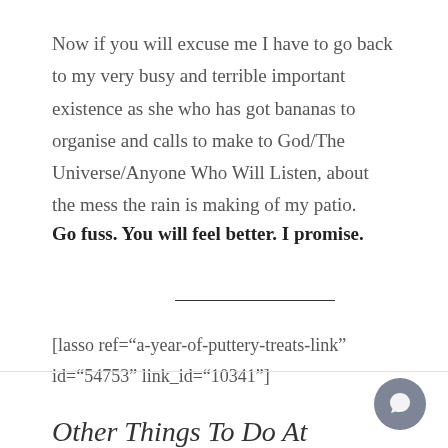Now if you will excuse me I have to go back to my very busy and terrible important existence as she who has got bananas to organise and calls to make to God/The Universe/Anyone Who Will Listen, about the mess the rain is making of my patio.
Go fuss. You will feel better. I promise.
[lasso ref="a-year-of-puttery-treats-link" id="54753" link_id="10341"]
Other Things To Do At